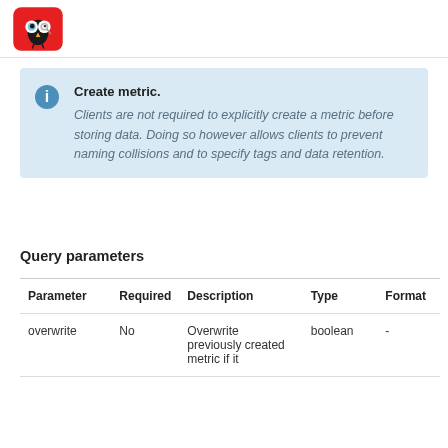[logo: bird/owl icon]
Create metric. Clients are not required to explicitly create a metric before storing data. Doing so however allows clients to prevent naming collisions and to specify tags and data retention.
Query parameters
| Parameter | Required | Description | Type | Format |
| --- | --- | --- | --- | --- |
| overwrite | No | Overwrite previously created metric if it | boolean | - |